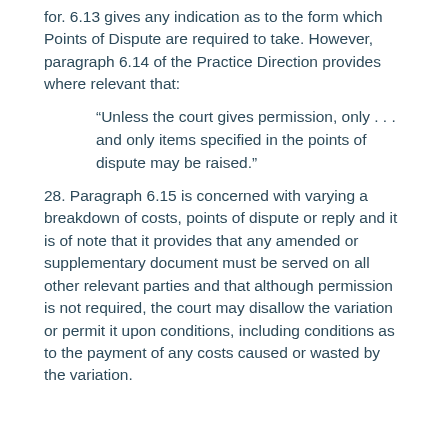for. 6.13 gives any indication as to the form which Points of Dispute are required to take. However, paragraph 6.14 of the Practice Direction provides where relevant that:
“Unless the court gives permission, only . . . and only items specified in the points of dispute may be raised.”
28. Paragraph 6.15 is concerned with varying a breakdown of costs, points of dispute or reply and it is of note that it provides that any amended or supplementary document must be served on all other relevant parties and that although permission is not required, the court may disallow the variation or permit it upon conditions, including conditions as to the payment of any costs caused or wasted by the variation.